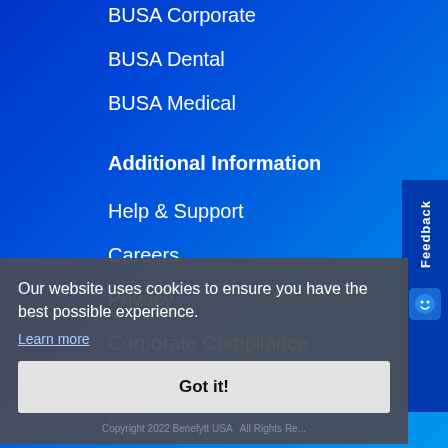BUSA Corporate
BUSA Dental
BUSA Medical
Additional Information
Help & Support
Careers
Privacy
Corporate Compliance
Sitemap
Government
Our website uses cookies to ensure you have the best possible experience.
Learn more
Got it!
Copyright 2022 Benefytt USA. All Rights Reserved.